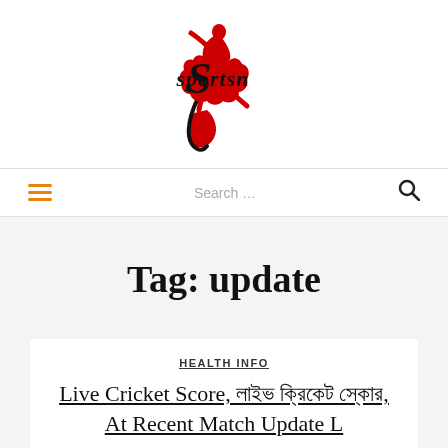[Figure (logo): Sportsn website logo — red stylized figure kicking, with 'Sportsn' text in decorative script inside a red cloud/bubble shape]
☰   Search ...   🔍
Tag: update
HEALTH INFO
Live Cricket Score, লাইভ ক্রিকেট স্কোর, At Recent Match Update L